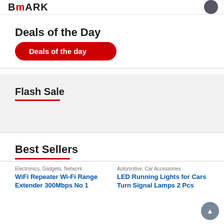BmARK
Deals of the Day
Deals of the day
Flash Sale
Best Sellers
Electronics, Gadgets, Network
WiFi Repeater Wi-Fi Range Extender 300Mbps No 1
Automotive, Car Accessories
LED Running Lights for Cars Turn Signal Lamps 2 Pcs